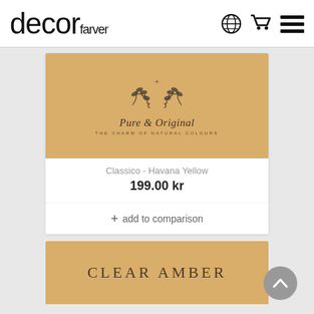decor farver
[Figure (screenshot): Product card for Classico - Havana Yellow showing Pure & Original brand logo on tan/yellow background]
Classico - Havana Yellow
199.00 kr
+ add to comparison
[Figure (screenshot): Product card top showing Clear Amber text on tan/amber background]